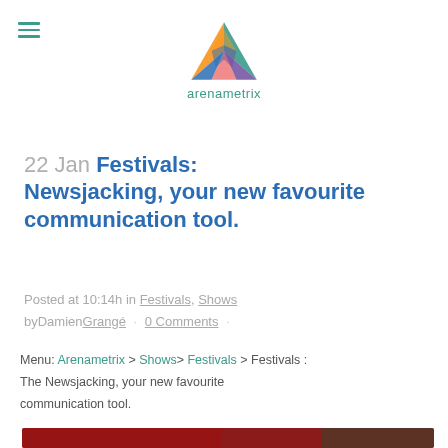arenametrix
22 Jan Festivals: Newsjacking, your new favourite communication tool.
Posted at 10:14h in Festivals, Shows
byDamienGrangé · 0 Comments ·
Menu: Arenametrix > Shows> Festivals > Festivals : The Newsjacking, your new favourite communication tool.
[Figure (photo): Close-up photo of a tablet or smartphone screen showing app icons including iTunes and App Store on a dark red background, with a plant visible in the right corner.]